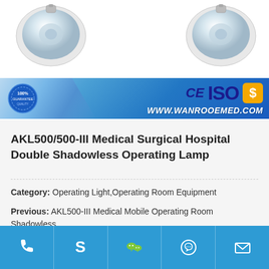[Figure (photo): Two medical shadowless operating lamp reflectors shown from below against white background, and a blue certification banner with CE, ISO marks and www.wanrooemed.com URL with a 100% guarantee seal]
AKL500/500-III Medical Surgical Hospital Double Shadowless Operating Lamp
Category: Operating Light,Operating Room Equipment
Previous: AKL500-III Medical Mobile Operating Room Shadowless Light Surgery Lamp
[Figure (infographic): Blue contact bar with phone, Skype, WeChat, WhatsApp, and email icons]